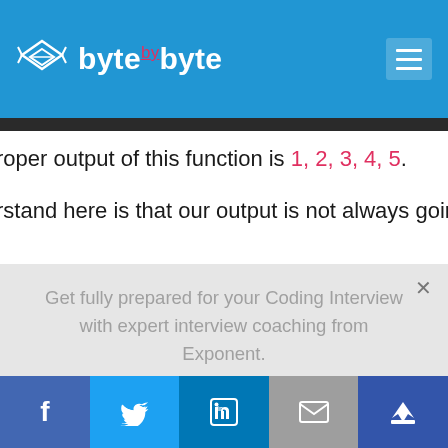byte by byte
roper output of this function is 1,2,3,4,5.
rstand here is that our output is not always going to occu
Get fully prepared for your Coding Interview with expert interview coaching from Exponent. Learn More →
Facebook Twitter LinkedIn Email Kings